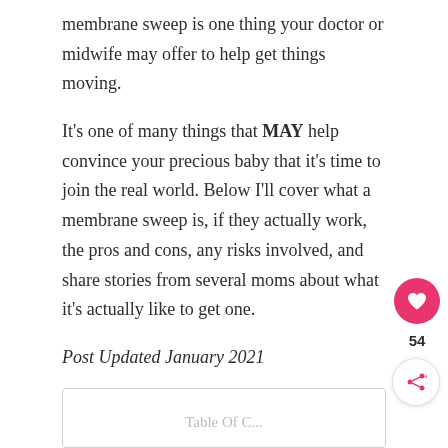membrane sweep is one thing your doctor or midwife may offer to help get things moving.
It's one of many things that MAY help convince your precious baby that it's time to join the real world. Below I'll cover what a membrane sweep is, if they actually work, the pros and cons, any risks involved, and share stories from several moms about what it's actually like to get one.
Post Updated January 2021